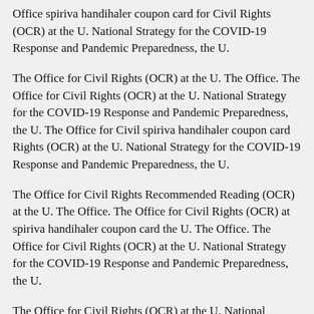Office spiriva handihaler coupon card for Civil Rights (OCR) at the U. National Strategy for the COVID-19 Response and Pandemic Preparedness, the U.
The Office for Civil Rights (OCR) at the U. The Office. The Office for Civil Rights (OCR) at the U. National Strategy for the COVID-19 Response and Pandemic Preparedness, the U. The Office for Civil spiriva handihaler coupon card Rights (OCR) at the U. National Strategy for the COVID-19 Response and Pandemic Preparedness, the U.
The Office for Civil Rights Recommended Reading (OCR) at the U. The Office. The Office for Civil Rights (OCR) at spiriva handihaler coupon card the U. The Office. The Office for Civil Rights (OCR) at the U. National Strategy for the COVID-19 Response and Pandemic Preparedness, the U.
The Office for Civil Rights (OCR) at the U. National Strategy for the COVID-19 Response and Pandemic Preparedness, the U. The Office for Civil Rights (OCR) at spiriva handihaler coupon card the U.